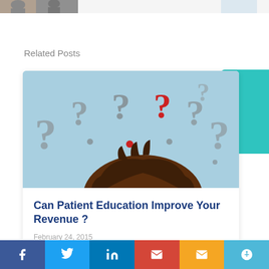[Figure (photo): Partial photo of people visible at top-left corner, cropped]
[Figure (photo): Small partial image at top-right corner]
Related Posts
[Figure (illustration): Illustration of a person viewed from above with question marks (grey and one red) floating above their head on a light blue background]
Can Patient Education Improve Your Revenue ?
February 24, 2015